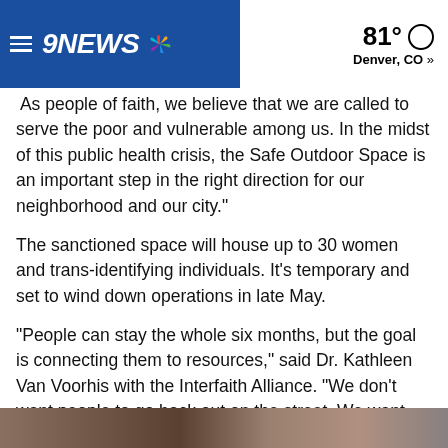9NEWS | 81° Denver, CO »
As people of faith, we believe that we are called to serve the poor and vulnerable among us. In the midst of this public health crisis, the Safe Outdoor Space is an important step in the right direction for our neighborhood and our city."
The sanctioned space will house up to 30 women and trans-identifying individuals. It's temporary and set to wind down operations in late May.
"People can stay the whole six months, but the goal is connecting them to resources," said Dr. Kathleen Van Voorhis with the Interfaith Alliance. "We don't want people to go back out on the street. We want them to have a stabilized outcome. It's hard for outreach workers to maintain contact with transients; this will help them maintain contact."